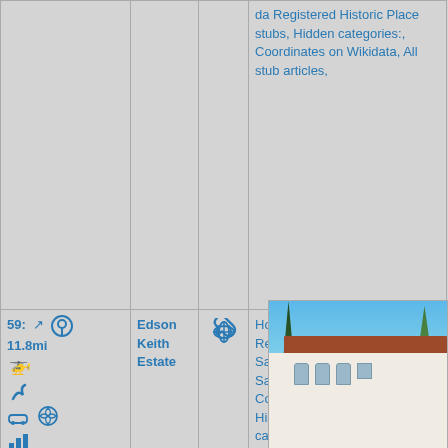| Distance/Icons | Name | Link | Categories | Photo |
| --- | --- | --- | --- | --- |
|  |  |  | da Registered Historic Place stubs, Hidden categories:, Coordinates on Wikidata, All stub articles, |  |
| 59: 11.8mi [icons] | Edson Keith Estate | [link] | Houses on the National Register of Historic Places in Sarasota County, Florida, Sarasota, Florida, Sarasota County, Florida Registered Historic Place stubs, Hidden categories:, Articles sourced only to NRIS from January 2014, All articles sourced only to NRIS, Coordinates... | [photo of Edson Keith Estate] |